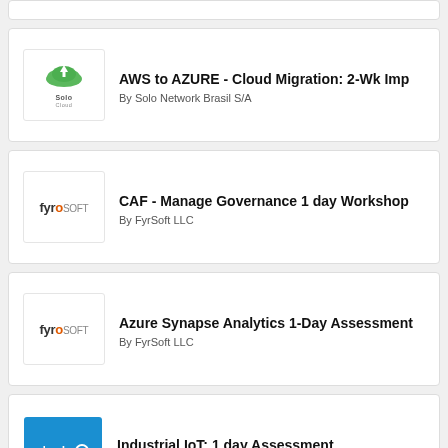[Figure (other): Partial top card (truncated)]
AWS to AZURE - Cloud Migration: 2-Wk Imp
By Solo Network Brasil S/A
CAF - Manage Governance 1 day Workshop
By FyrSoft LLC
Azure Synapse Analytics 1-Day Assessment
By FyrSoft LLC
Industrial IoT: 1 day Assessment
By CloudPro ApS